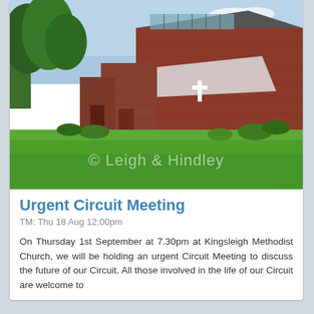[Figure (photo): Exterior photograph of Kingsleigh Methodist Church — a modern red-brick building with a cross on the wall, set in green lawns with trees in the background. Watermark reads '© Leigh & Hindley'.]
Urgent Circuit Meeting
TM: Thu 18 Aug 12:00pm
On Thursday 1st September at 7.30pm at Kingsleigh Methodist Church, we will be holding an urgent Circuit Meeting to discuss the future of our Circuit. All those involved in the life of our Circuit are welcome to